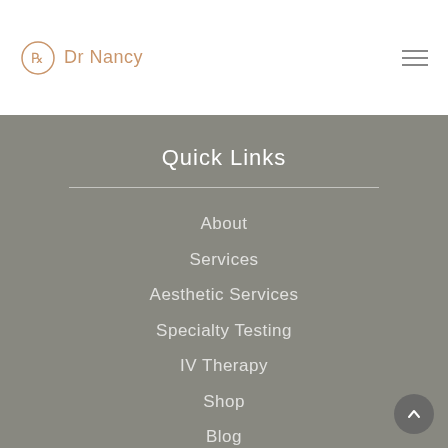Dr Nancy
Quick Links
About
Services
Aesthetic Services
Specialty Testing
IV Therapy
Shop
Blog